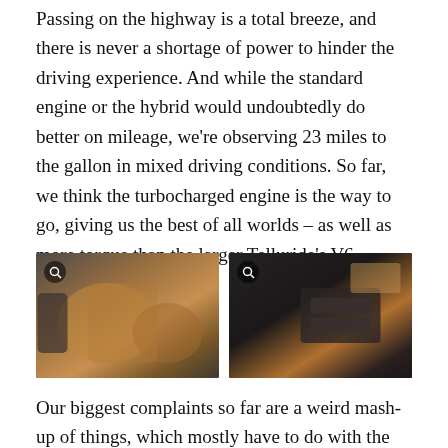Passing on the highway is a total breeze, and there is never a shortage of power to hinder the driving experience. And while the standard engine or the hybrid would undoubtedly do better on mileage, we're observing 23 miles to the gallon in mixed driving conditions. So far, we think the turbocharged engine is the way to go, giving us the best of all worlds – as well as more torque than the larger Telluride's V6.
[Figure (photo): Two car interior photos side by side: left shows tan/brown leather rear seats of a Kia Sorento; right shows the interior door panel with black and tan trim and air vents.]
Our biggest complaints so far are a weird mash-up of things, which mostly have to do with the Miami summer and how the Sorento handles it. The big panoramic